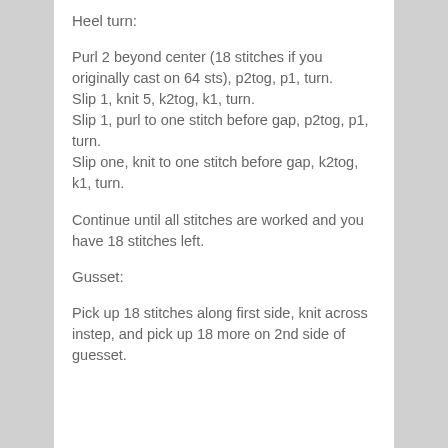Heel turn:
Purl 2 beyond center (18 stitches if you originally cast on 64 sts), p2tog, p1, turn.
Slip 1, knit 5, k2tog, k1, turn.
Slip 1, purl to one stitch before gap, p2tog, p1, turn.
Slip one, knit to one stitch before gap, k2tog, k1, turn.
Continue until all stitches are worked and you have 18 stitches left.
Gusset:
Pick up 18 stitches along first side, knit across instep, and pick up 18 more on 2nd side of guesset.